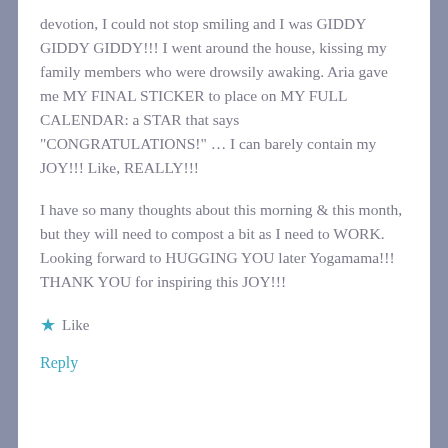devotion, I could not stop smiling and I was GIDDY GIDDY GIDDY!!! I went around the house, kissing my family members who were drowsily awaking. Aria gave me MY FINAL STICKER to place on MY FULL CALENDAR: a STAR that says "CONGRATULATIONS!" ... I can barely contain my JOY!!! Like, REALLY!!!
I have so many thoughts about this morning & this month, but they will need to compost a bit as I need to WORK. Looking forward to HUGGING YOU later Yogamama!!! THANK YOU for inspiring this JOY!!!
★ Like
Reply